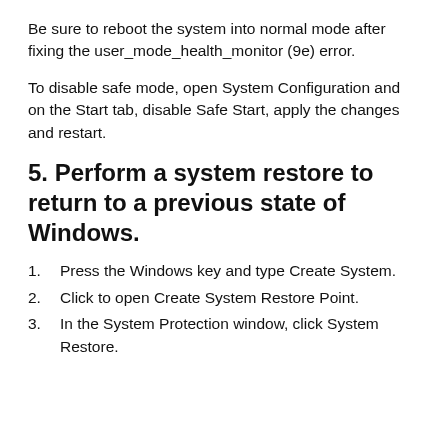Be sure to reboot the system into normal mode after fixing the user_mode_health_monitor (9e) error.
To disable safe mode, open System Configuration and on the Start tab, disable Safe Start, apply the changes and restart.
5. Perform a system restore to return to a previous state of Windows.
1. Press the Windows key and type Create System.
2. Click to open Create System Restore Point.
3. In the System Protection window, click System Restore.